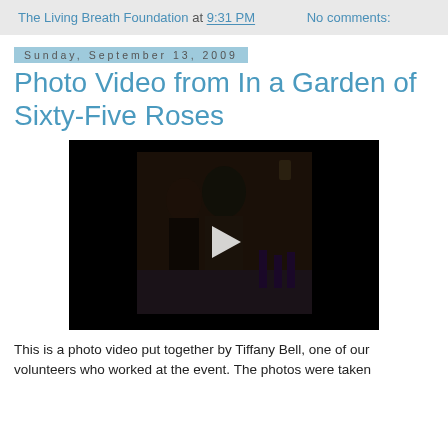The Living Breath Foundation at 9:31 PM   No comments:
Sunday, September 13, 2009
Photo Video from In a Garden of Sixty-Five Roses
[Figure (screenshot): Embedded video player showing a dark scene with people at an event, with a play button overlay in the center.]
This is a photo video put together by Tiffany Bell, one of our volunteers who worked at the event. The photos were taken